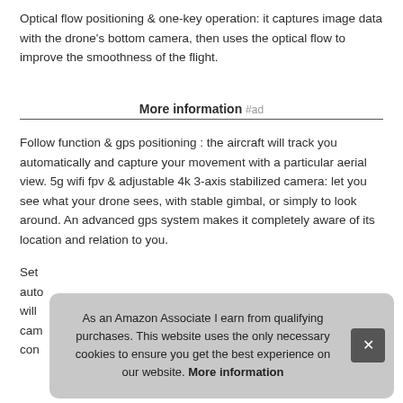Optical flow positioning & one-key operation: it captures image data with the drone's bottom camera, then uses the optical flow to improve the smoothness of the flight.
More information #ad
Follow function & gps positioning : the aircraft will track you automatically and capture your movement with a particular aerial view. 5g wifi fpv & adjustable 4k 3-axis stabilized camera: let you see what your drone sees, with stable gimbal, or simply to look around. An advanced gps system makes it completely aware of its location and relation to you.
Set
auto
will
cam
con
As an Amazon Associate I earn from qualifying purchases. This website uses the only necessary cookies to ensure you get the best experience on our website. More information